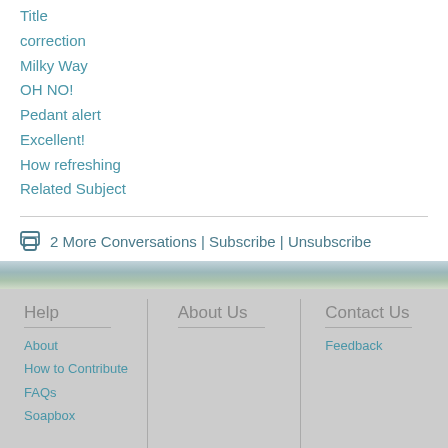Title
correction
Milky Way
OH NO!
Pedant alert
Excellent!
How refreshing
Related Subject
2 More Conversations | Subscribe | Unsubscribe
Help | About Us | Contact Us | About | How to Contribute | FAQs | Soapbox | Feedback